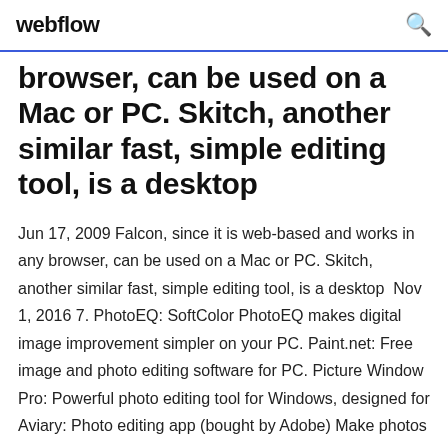webflow
browser, can be used on a Mac or PC. Skitch, another similar fast, simple editing tool, is a desktop
Jun 17, 2009 Falcon, since it is web-based and works in any browser, can be used on a Mac or PC. Skitch, another similar fast, simple editing tool, is a desktop  Nov 1, 2016 7. PhotoEQ: SoftColor PhotoEQ makes digital image improvement simpler on your PC. Paint.net: Free image and photo editing software for PC. Picture Window Pro: Powerful photo editing tool for Windows, designed for Aviary: Photo editing app (bought by Adobe) Make photos